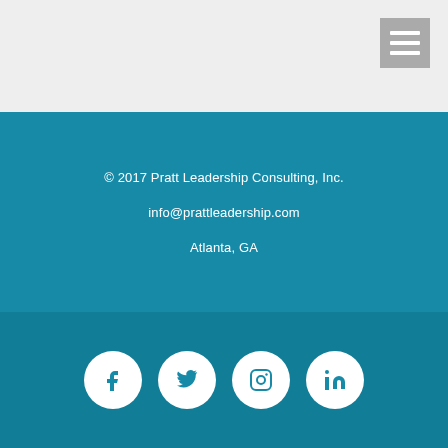[Figure (logo): Hamburger menu icon (three horizontal lines on grey background) in top-right corner]
© 2017 Pratt Leadership Consulting, Inc.
info@prattleadership.com
Atlanta, GA
[Figure (infographic): Four white circular social media icons: Facebook, Twitter, Instagram, LinkedIn on dark teal background]